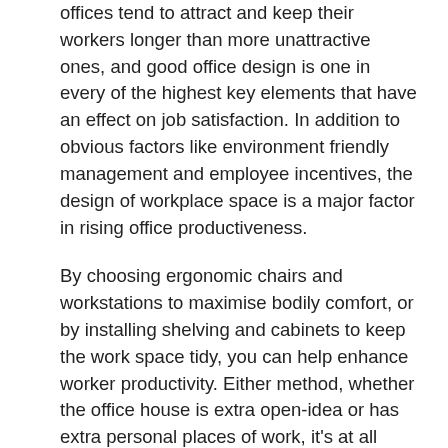offices tend to attract and keep their workers longer than more unattractive ones, and good office design is one in every of the highest key elements that have an effect on job satisfaction. In addition to obvious factors like environment friendly management and employee incentives, the design of workplace space is a major factor in rising office productiveness.
By choosing ergonomic chairs and workstations to maximise bodily comfort, or by installing shelving and cabinets to keep the work space tidy, you can help enhance worker productivity. Either method, whether the office house is extra open-idea or has extra personal places of work, it's at all times a good idea to designate rooms for coffee breaks and workplace gear to an area away from the principle workstations. It's a trend amongst some types of firms for managers and CEOs to take a seat in open workstations along with their staff, so as to look more accessible. Office assistants, for instance, are usually situated in areas which might be extra 'public', usually close to the primary